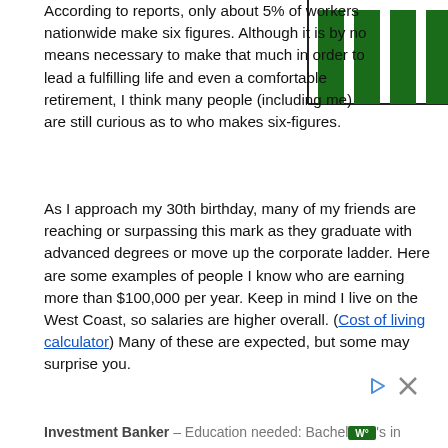According to reports, only about 5% of workers nationwide make six figures. Although it is by no means necessary to make that much in order to lead a fulfilling life and even a comfortable retirement, I think many people (including me) are still curious as to who makes six-figures.
[Figure (bar-chart): Partial bar chart with dark green bars visible in upper right corner of page, appears to show salary or income data]
As I approach my 30th birthday, many of my friends are reaching or surpassing this mark as they graduate with advanced degrees or move up the corporate ladder. Here are some examples of people I know who are earning more than $100,000 per year. Keep in mind I live on the West Coast, so salaries are higher overall. (Cost of living calculator) Many of these are expected, but some may surprise you.
Investment Banker – Education needed: Bachelor's in